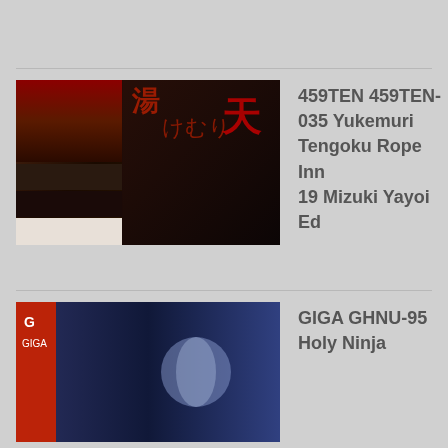[Figure (photo): DVD cover for 459TEN-035 Yukemuri Tengoku Rope Inn 19 Mizuki Yayoi, showing adult content bondage imagery]
459TEN 459TEN-035 Yukemuri Tengoku Rope Inn 19 Mizuki Yayoi Ed
[Figure (photo): DVD cover for GIGA GHNU-95 Holy Ninja, showing action/superhero cosplay imagery]
GIGA GHNU-95 Holy Ninja